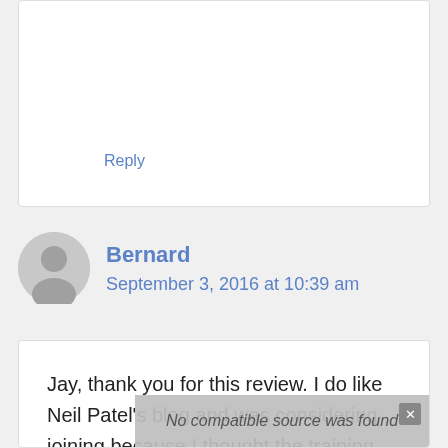Reply
Bernard
September 3, 2016 at 10:39 am
Jay, thank you for this review. I do like Neil Patel's blog and was considering joining because I thought the training would be from him.
I am happy now I did not. Keep up the good work you are doing here.
No compatible source was found